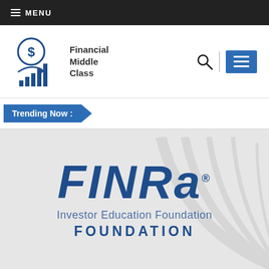☰ MENU
[Figure (logo): Financial Middle Class logo with dollar coin and bar chart icon, text reads Financial Middle Class]
[Figure (logo): Navigation icons: search magnifying glass, vertical divider, blue hamburger menu box]
Trending Now :
[Figure (logo): FINRA Investor Education Foundation logo on light gray background with decorative arc lines]